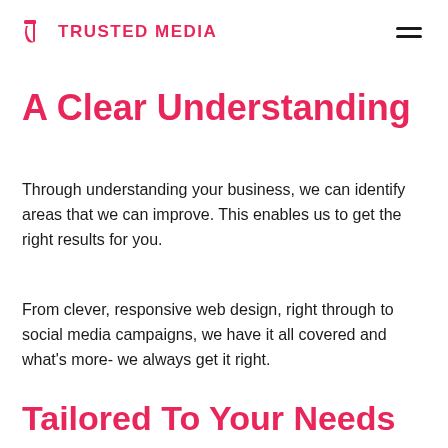TRUSTED MEDIA
A Clear Understanding
Through understanding your business, we can identify areas that we can improve. This enables us to get the right results for you.
From clever, responsive web design, right through to social media campaigns, we have it all covered and what's more- we always get it right.
Tailored To Your Needs